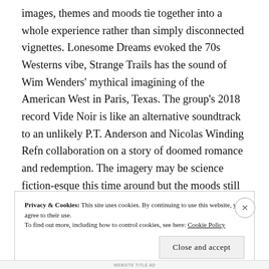images, themes and moods tie together into a whole experience rather than simply disconnected vignettes. Lonesome Dreams evoked the 70s Westerns vibe, Strange Trails has the sound of Wim Wenders' mythical imagining of the American West in Paris, Texas. The group's 2018 record Vide Noir is like an alternative soundtrack to an unlikely P.T. Anderson and Nicolas Winding Refn collaboration on a story of doomed romance and redemption. The imagery may be science fiction-esque this time around but the moods still grounded in heightened emotional colorings.
Privacy & Cookies: This site uses cookies. By continuing to use this website, you agree to their use.
To find out more, including how to control cookies, see here: Cookie Policy
Close and accept
WEBSITE TITLE AD